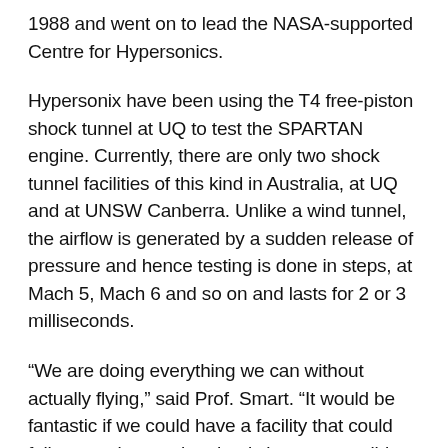1988 and went on to lead the NASA-supported Centre for Hypersonics.
Hypersonix have been using the T4 free-piston shock tunnel at UQ to test the SPARTAN engine. Currently, there are only two shock tunnel facilities of this kind in Australia, at UQ and at UNSW Canberra. Unlike a wind tunnel, the airflow is generated by a sudden release of pressure and hence testing is done in steps, at Mach 5, Mach 6 and so on and lasts for 2 or 3 milliseconds.
“We are doing everything we can without actually flying,” said Prof. Smart. “It would be fantastic if we could have a facility that could follow a trajectory, but that is just not possible, you really have got to go and fly it”.